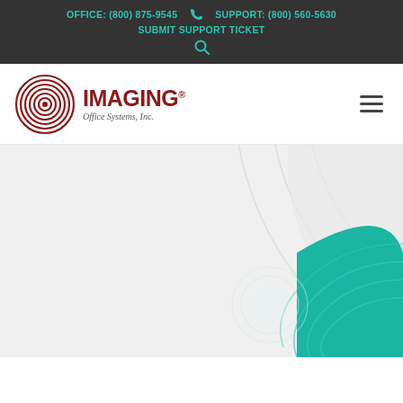OFFICE: (800) 875-9545   SUPPORT: (800) 560-5630   SUBMIT SUPPORT TICKET
[Figure (logo): Imaging Office Systems Inc. logo with concentric circles in dark red and company name text]
[Figure (illustration): Hero section background with light grey and teal/turquoise decorative concentric arc shapes on right side]